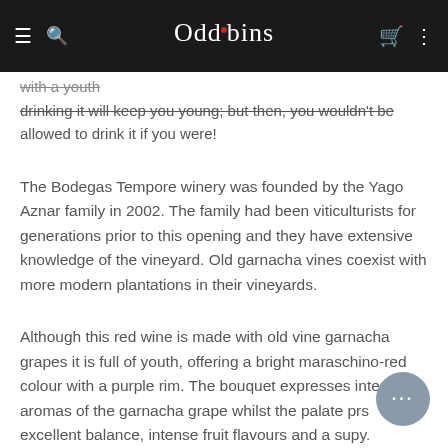Oddbins
with a youth... can't guarantee drinking it will keep you young; but then, you wouldn't be allowed to drink it if you were!
The Bodegas Tempore winery was founded by the Yago Aznar family in 2002. The family had been viticulturists for generations prior to this opening and they have extensive knowledge of the vineyard. Old garnacha vines coexist with more modern plantations in their vineyards.
Although this red wine is made with old vine garnacha grapes it is full of youth, offering a bright maraschino-red colour with a purple rim. The bouquet expresses intense aromas of the garnacha grape whilst the palate pr... excellent balance, intense fruit flavours and a sup... y.